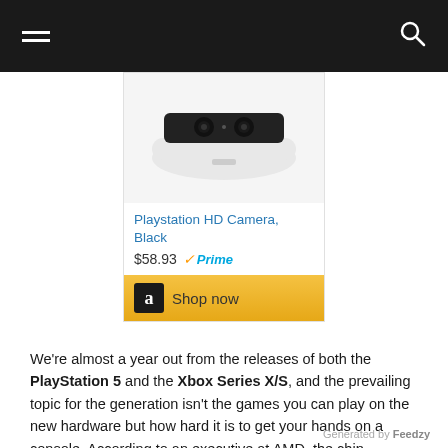Navigation bar with hamburger menu and search icon
[Figure (photo): Amazon product card showing PlayStation HD Camera in black and white, priced at $58.93 with Prime badge, and a Shop now button with Amazon logo]
We’re almost a year out from the releases of both the PlayStation 5 and the Xbox Series X/S, and the prevailing topic for the generation isn’t the games you can play on the new hardware but how hard it is to get your hands on a console. According to an executive at AMD, the chip supplier for Sony and Microsoft’s gaming machines, the drought is not quite at an end. Though, there is light at the end of the tunnel.
Generated by Feedzy